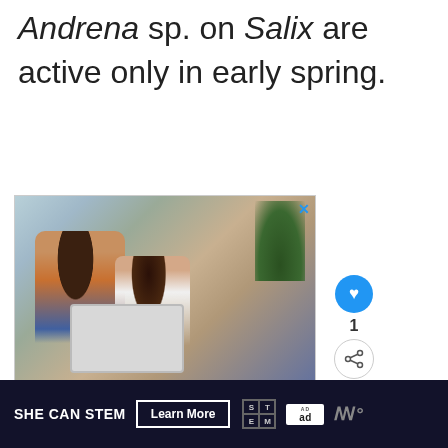Andrena sp. on Salix are active only in early spring.
[Figure (photo): Advertisement photo showing a man and a young girl sitting on a couch looking at a laptop, with a plant in the background. Below the photo is a green banner with '#AloneTogether' text and a 'What's Next' panel showing 'Stick Bugs 101: The...'. Side UI buttons include a heart (liked: 1) and share button.]
[Figure (screenshot): Bottom bar advertisement: 'SHE CAN STEM' with a 'Learn More' button, STEM grid logo, Ad Council logo, and weather icon on dark background.]